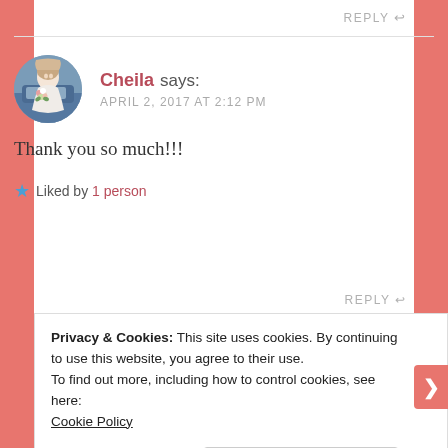REPLY ↩
[Figure (photo): Circular avatar photo of Cheila, a woman in a white wedding dress holding a bouquet of flowers, with a blue car in the background.]
Cheila says:
APRIL 2, 2017 AT 2:12 PM
Thank you so much!!!
★ Liked by 1 person
REPLY ↩
Privacy & Cookies: This site uses cookies. By continuing to use this website, you agree to their use.
To find out more, including how to control cookies, see here:
Cookie Policy
Close and accept